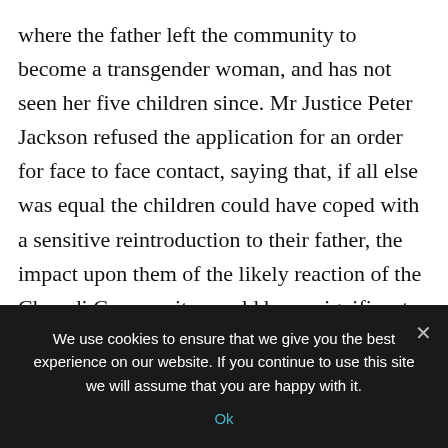where the father left the community to become a transgender woman, and has not seen her five children since. Mr Justice Peter Jackson refused the application for an order for face to face contact, saying that, if all else was equal the children could have coped with a sensitive reintroduction to their father, the impact upon them of the likely reaction of the Charedi Community would be so significant that it outweighed the benefits of direct contact.

You can read the full judgment here (but we
We use cookies to ensure that we give you the best experience on our website. If you continue to use this site we will assume that you are happy with it.

Ok